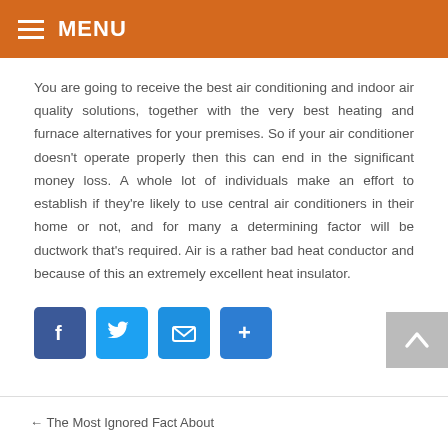MENU
You are going to receive the best air conditioning and indoor air quality solutions, together with the very best heating and furnace alternatives for your premises. So if your air conditioner doesn't operate properly then this can end in the significant money loss. A whole lot of individuals make an effort to establish if they're likely to use central air conditioners in their home or not, and for many a determining factor will be ductwork that's required. Air is a rather bad heat conductor and because of this an extremely excellent heat insulator.
[Figure (infographic): Social sharing buttons: Facebook, Twitter, Email, Share (plus icon)]
← The Most Ignored Fact About